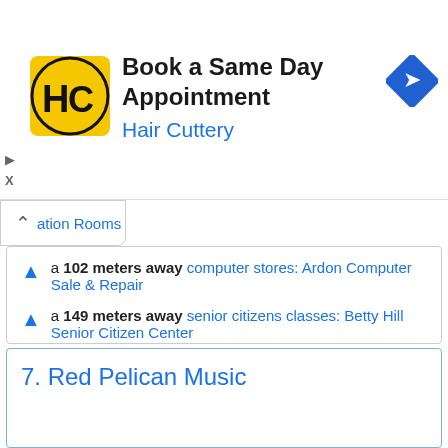[Figure (logo): Hair Cuttery HC logo in yellow square with advertisement: Book a Same Day Appointment, Hair Cuttery, with blue navigation diamond icon]
a 102 meters away computer stores: Ardon Computer Sale & Repair
a 149 meters away senior citizens classes: Betty Hill Senior Citizen Center
Are you the owner of the business? PROMOTE IT!
BE THE 1ST IN THE RANKING
EXCLUSIVE PAGE
7. Red Pelican Music